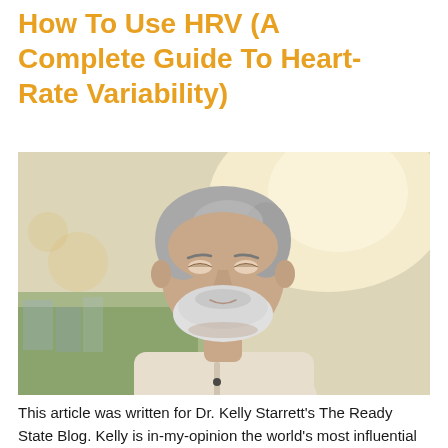How To Use HRV (A Complete Guide To Heart-Rate Variability)
[Figure (photo): Older man with gray hair and beard wearing a light beige long-sleeve henley shirt, looking down at a smartwatch/fitness tracker on his wrist. Outdoor setting with blurred greenery and buildings in background.]
This article was written for Dr. Kelly Starrett's The Ready State Blog. Kelly is in-my-opinion the world's most influential